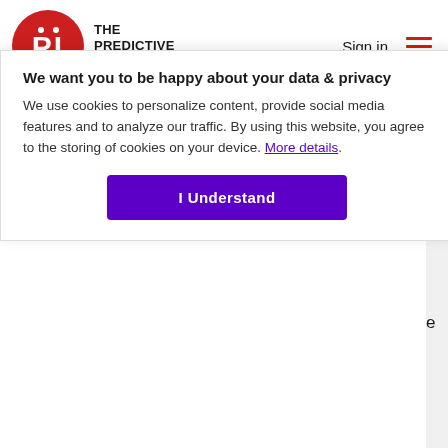[Figure (logo): The Predictive Index logo: red circle with white PI letters and company name]
We reserve the right to monitor, restrict access to, edit or remove any Content available via the Website.
Registration/ Accounts
You may create an account by providing us with your
We want you to be happy about your data & privacy

We use cookies to personalize content, provide social media features and to analyze our traffic. By using this website, you agree to the storing of cookies on your device. More details.

I Understand